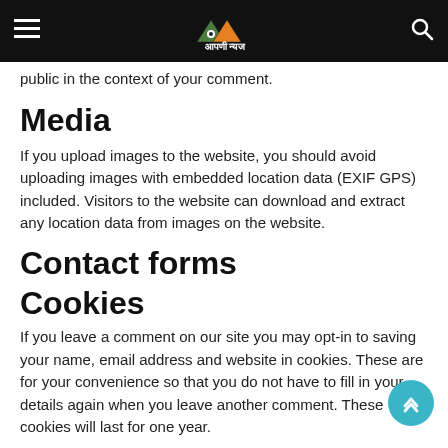Aapni News — navigation header with logo, hamburger menu, and search icon
public in the context of your comment.
Media
If you upload images to the website, you should avoid uploading images with embedded location data (EXIF GPS) included. Visitors to the website can download and extract any location data from images on the website.
Contact forms
Cookies
If you leave a comment on our site you may opt-in to saving your name, email address and website in cookies. These are for your convenience so that you do not have to fill in your details again when you leave another comment. These cookies will last for one year.